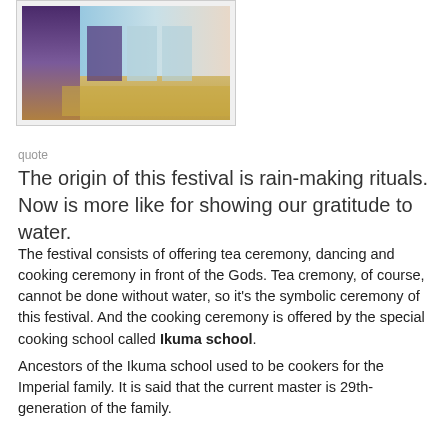[Figure (photo): Photo of people in traditional Japanese festival clothing/costumes at what appears to be a ceremony, with a wooden platform or altar visible]
quote
The origin of this festival is rain-making rituals.
Now is more like for showing our gratitude to water.
The festival consists of offering tea ceremony, dancing and cooking ceremony in front of the Gods. Tea cremony, of course, cannot be done without water, so it's the symbolic ceremony of this festival. And the cooking ceremony is offered by the special cooking school called Ikuma school.
Ancestors of the Ikuma school used to be cookers for the Imperial family. It is said that the current master is 29th-generation of the family.
At the ceremony, he cooks a fish in front of the god without touching it by his hands at all. (The fish is altarage for Gods, so it shouldn't be touched by men.)